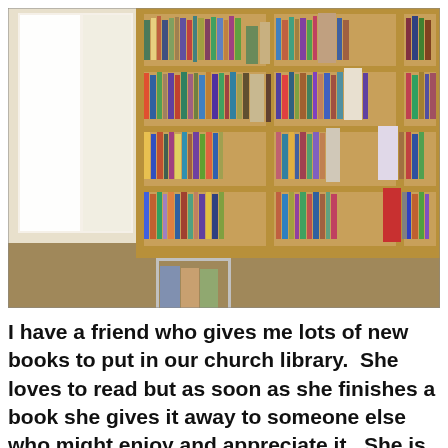[Figure (photo): A library bookshelf filled with books arranged in multiple rows and columns. A wire book display rack stands to the left with books displayed face-out. The shelving unit is wooden/tan colored with multiple compartments. Books of various colors and sizes fill the shelves.]
I have a friend who gives me lots of new books to put in our church library.  She loves to read but as soon as she finishes a book she gives it away to someone else who might enjoy and appreciate it.  She is happy